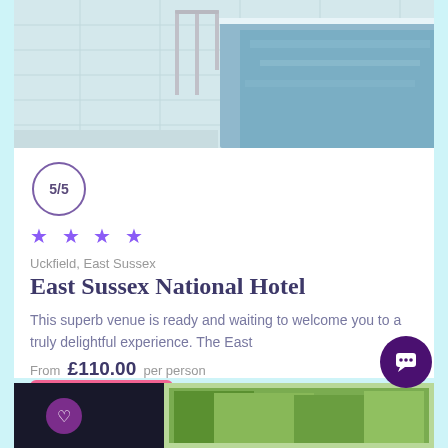[Figure (photo): Top portion of a hotel spa pool area showing blue water, tiled surround, and metal railings]
5/5
★ ★ ★ ★
Uckfield, East Sussex
East Sussex National Hotel
This superb venue is ready and waiting to welcome you to a truly delightful experience.  The East
From  £110.00  per person
View Spa →
[Figure (photo): Bottom partial view of another hotel venue showing dark foreground and green trees in background]